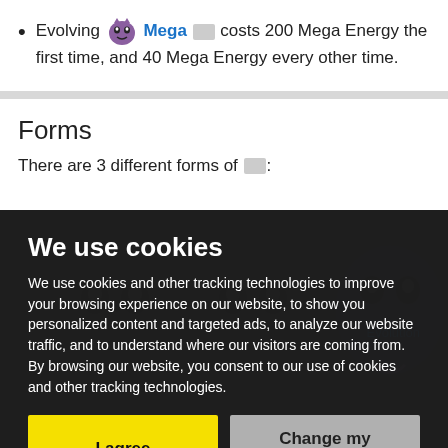Evolving [Gengar sprite] Mega [icon] costs 200 Mega Energy the first time, and 40 Mega Energy every other time.
Forms
There are 3 different forms of [icon]:
We use cookies
We use cookies and other tracking technologies to improve your browsing experience on our website, to show you personalized content and targeted ads, to analyze our website traffic, and to understand where our visitors are coming from. By browsing our website, you consent to our use of cookies and other tracking technologies.